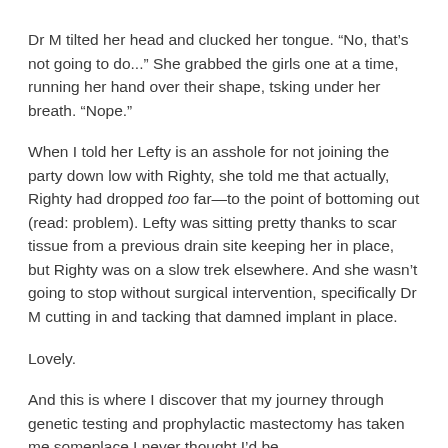Dr M tilted her head and clucked her tongue. “No, that’s not going to do...” She grabbed the girls one at a time, running her hand over their shape, tsking under her breath. “Nope.”
When I told her Lefty is an asshole for not joining the party down low with Righty, she told me that actually, Righty had dropped too far—to the point of bottoming out (read: problem). Lefty was sitting pretty thanks to scar tissue from a previous drain site keeping her in place, but Righty was on a slow trek elsewhere. And she wasn’t going to stop without surgical intervention, specifically Dr M cutting in and tacking that damned implant in place.
Lovely.
And this is where I discover that my journey through genetic testing and prophylactic mastectomy has taken me someplace I never thought I’d be...
The Land of Tweaks